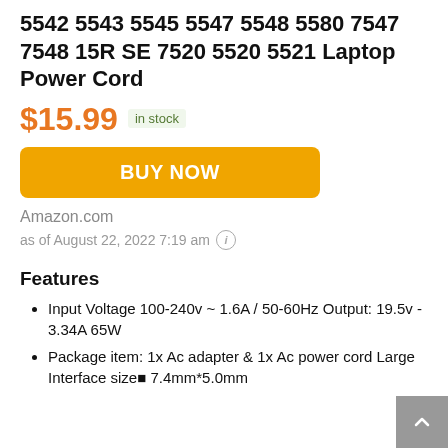5542 5543 5545 5547 5548 5580 7547 7548 15R SE 7520 5520 5521 Laptop Power Cord
$15.99 in stock
BUY NOW
Amazon.com
as of August 22, 2022 7:19 am
Features
Input Voltage 100-240v ~ 1.6A / 50-60Hz Output: 19.5v - 3.34A 65W
Package item: 1x Ac adapter & 1x Ac power cord Large Interface size: 7.4mm*5.0mm